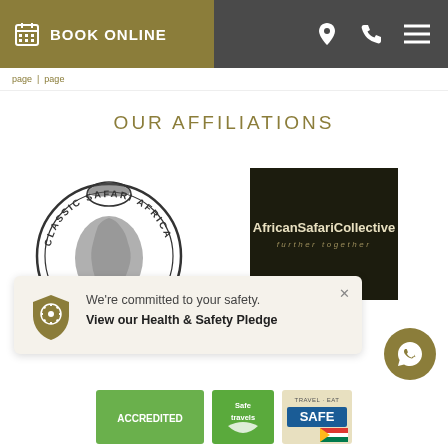BOOK ONLINE
OUR AFFILIATIONS
[Figure (logo): Classic Safari Africa circular logo with leopard and Africa map silhouette]
[Figure (logo): African Safari Collective logo – dark background with text 'AfricanSafariCollective further together']
We're committed to your safety. View our Health & Safety Pledge
[Figure (logo): Green logo at bottom left]
[Figure (logo): Safe travels badge]
[Figure (logo): Travel + Eat Safe South Africa badge]